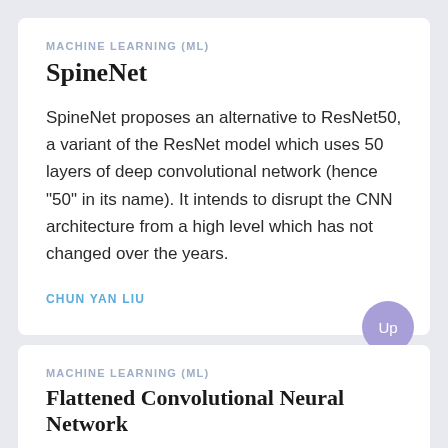MACHINE LEARNING (ML)
SpineNet
SpineNet proposes an alternative to ResNet50, a variant of the ResNet model which uses 50 layers of deep convolutional network (hence "50" in its name). It intends to disrupt the CNN architecture from a high level which has not changed over the years.
CHUN YAN LIU
MACHINE LEARNING (ML)
Flattened Convolutional Neural Network